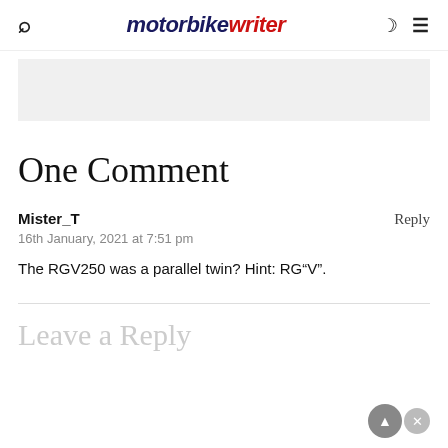motorbike writer
[Figure (other): Gray advertisement banner placeholder]
One Comment
Mister_T
16th January, 2021 at 7:51 pm
The RGV250 was a parallel twin? Hint: RG"V".
Leave a Reply